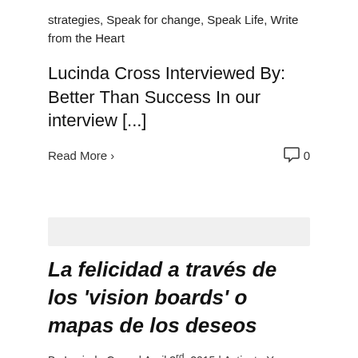strategies, Speak for change, Speak Life, Write from the Heart
Lucinda Cross Interviewed By: Better Than Success In our interview [...]
Read More >   0
La felicidad a través de los 'vision boards' o mapas de los deseos
By Lucinda Cross | April 3rd, 2015 | Activate Your